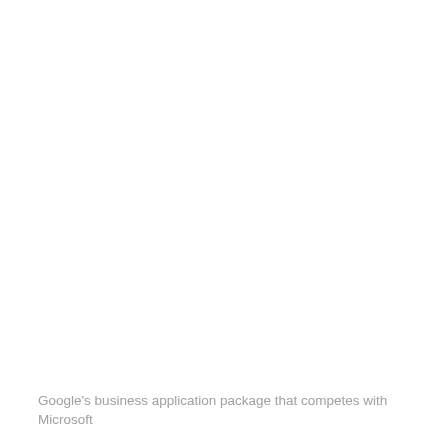Google's business application package that competes with Microsoft